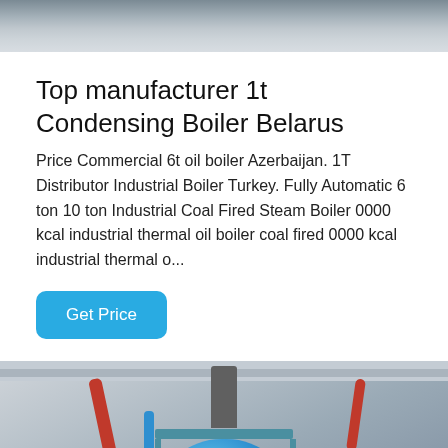[Figure (photo): Top portion of an industrial boiler or machinery photo, partially cropped at top of page]
Top manufacturer 1t Condensing Boiler Belarus
Price Commercial 6t oil boiler Azerbaijan. 1T Distributor Industrial Boiler Turkey. Fully Automatic 6 ton 10 ton Industrial Coal Fired Steam Boiler 0000 kcal industrial thermal oil boiler coal fired 0000 kcal industrial thermal o...
[Figure (photo): Industrial boiler room with a large blue cylindrical boiler, red and blue pipes, chimney stack, metal platform/walkway, yellow equipment on left, white walls]